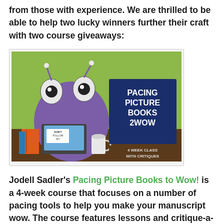from those with experience. We are thrilled to be able to help two lucky winners further their craft with two course giveaways:
[Figure (illustration): Book cover for 'Pacing Picture Books 2WOW' showing a cartoon purple monster with bug eyes sitting at a desk with a laptop, books, and coffee mug. Text reads: PACING PICTURE BOOKS 2WOW, 4 WEEK CLASS WITH CRITIQUES]
Jodell Sadler's Pacing Picture Books to Wow! is a 4-week course that focuses on a number of pacing tools to help you make your manuscript wow. The course features lessons and critique-a-thons.
[Figure (photo): Circular portrait photo of a woman with blonde hair, smiling, with an orange circular border around the photo]